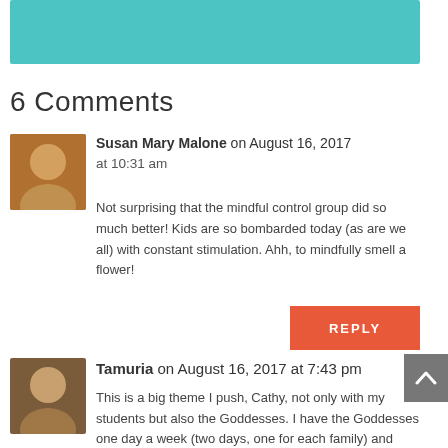[Figure (illustration): Teal/turquoise banner rectangle at the top of the page]
6 Comments
Susan Mary Malone on August 16, 2017 at 10:31 am
Not surprising that the mindful control group did so much better! Kids are so bombarded today (as are we all) with constant stimulation. Ahh, to mindfully smell a flower!
REPLY
Tamuria on August 16, 2017 at 7:43 pm
This is a big theme I push, Cathy, not only with my students but also the Goddesses. I have the Goddesses one day a week (two days, one for each family) and always try to incorporate mindfulness. We go on discovery walks and talk about the beauty of nature. We have a ‘love jar’ where I record the grateful thoughts the Goddesses have about